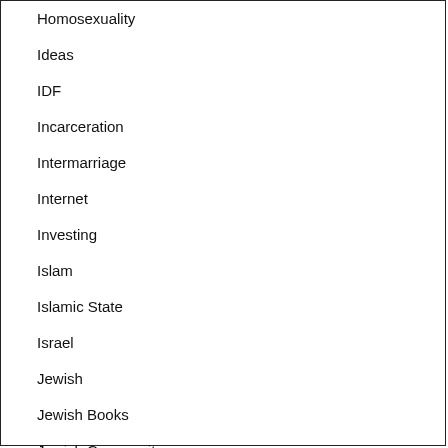Homosexuality
Ideas
IDF
Incarceration
Intermarriage
Internet
Investing
Islam
Islamic State
Israel
Jewish
Jewish Books
Jewish Community
Jewish Denominations
Jewish Education
Jewish Federations